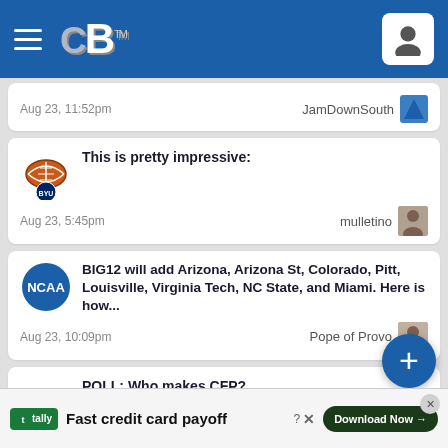[Figure (screenshot): CougarsBytes (CB) sports forum mobile app header with hamburger menu, CB logo in white/grey on blue background, and user profile icon button]
Aug 23, 11:52pm   JamDownSouth
This is pretty impressive:
Aug 23, 5:45pm   mulletino
BIG12 will add Arizona, Arizona St, Colorado, Pitt, Louisville, Virginia Tech, NC State, and Miami. Here is how...
Aug 23, 10:09pm   Pope of Provo
POLL: Who makes CFP?
Aug 23, 10:25pm   Icelandic Cougar
Site Statistics
Today
Posts: 85
Threads:
[Figure (screenshot): Tally app advertisement banner: green Tally logo, text 'Fast credit card payoff', Download Now button, close controls]